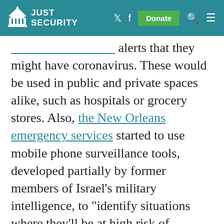JUST SECURITY
alerts that they might have coronavirus. These would be used in public and private spaces alike, such as hospitals or grocery stores. Also, the New Orleans emergency services started to use mobile phone surveillance tools, developed partially by former members of Israel’s military intelligence, to “identify situations where they’ll be at high risk of contagion from the virus”. In the United Kingdom, some scientists called on the U.K. and other E.U. governments to develop similar mobile apps as in China.
Understandably, many people desire to take